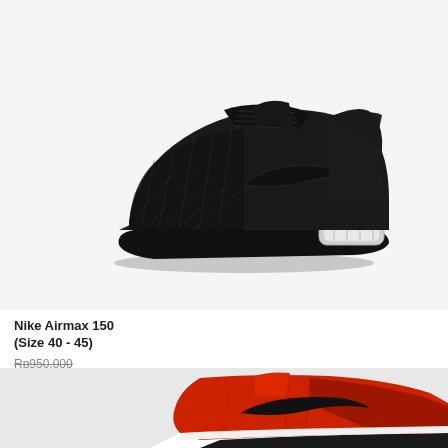[Figure (photo): Black Nike Air Max 2017 sneaker on white background, side profile view showing triple-black colorway with visible Air Max unit in sole]
Nike Airmax 150
(Size 40 - 45)
Rp950.000
Rp670.000
[Figure (photo): Red and black Nike running sneaker, partially visible, top-down angled view showing red mesh upper with black Nike swoosh and white sole]